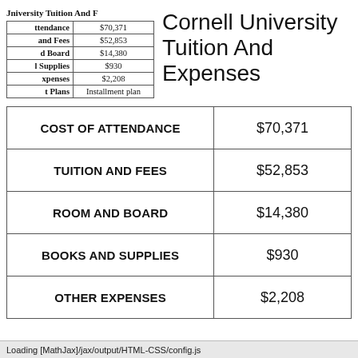University Tuition And E
| Category | Amount |
| --- | --- |
| ttendance | $70,371 |
| and Fees | $52,853 |
| d Board | $14,380 |
| l Supplies | $930 |
| xpenses | $2,208 |
| t Plans | Installment plan |
Cornell University Tuition And Expenses
| Category | Amount |
| --- | --- |
| COST OF ATTENDANCE | $70,371 |
| TUITION AND FEES | $52,853 |
| ROOM AND BOARD | $14,380 |
| BOOKS AND SUPPLIES | $930 |
| OTHER EXPENSES | $2,208 |
Loading [MathJax]/jax/output/HTML-CSS/config.js